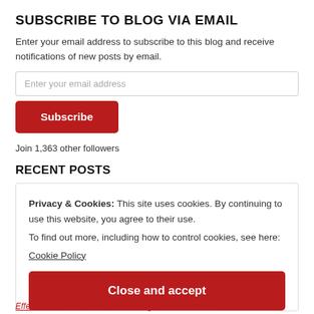SUBSCRIBE TO BLOG VIA EMAIL
Enter your email address to subscribe to this blog and receive notifications of new posts by email.
Join 1,363 other followers
RECENT POSTS
Privacy & Cookies: This site uses cookies. By continuing to use this website, you agree to their use.
To find out more, including how to control cookies, see here:
Cookie Policy
Close and accept
Effects of Covid-19 and Other Thoughts on Insomnia